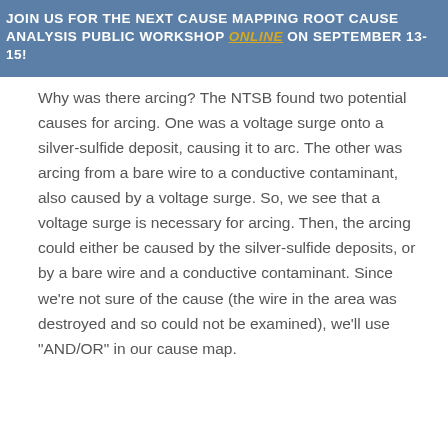JOIN US FOR THE NEXT CAUSE MAPPING ROOT CAUSE ANALYSIS PUBLIC WORKSHOP ONLINE ON SEPTEMBER 13-15!
Why was there arcing? The NTSB found two potential causes for arcing. One was a voltage surge onto a silver-sulfide deposit, causing it to arc. The other was arcing from a bare wire to a conductive contaminant, also caused by a voltage surge. So, we see that a voltage surge is necessary for arcing. Then, the arcing could either be caused by the silver-sulfide deposits, or by a bare wire and a conductive contaminant. Since we’re not sure of the cause (the wire in the area was destroyed and so could not be examined), we’ll use “AND/OR” in our cause map.